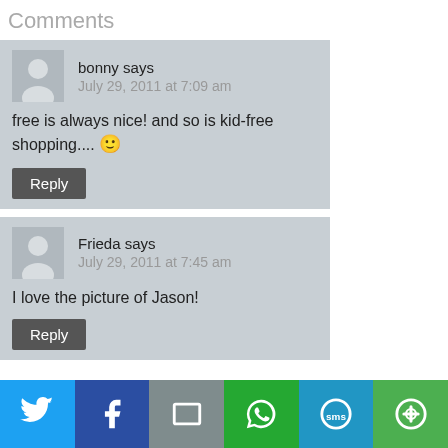Comments
bonny says
July 29, 2011 at 7:09 am
free is always nice! and so is kid-free shopping.... 😊
Reply
Frieda says
July 29, 2011 at 7:45 am
I love the picture of Jason!
Reply
[Figure (infographic): Social sharing bar with Twitter, Facebook, Email, WhatsApp, SMS, and More buttons]